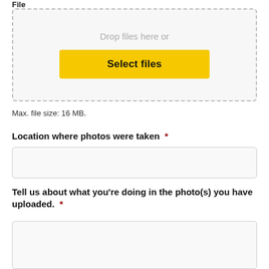File
[Figure (screenshot): File upload drop zone with dashed border, containing text 'Drop files here or' and a yellow 'Select files' button]
Max. file size: 16 MB.
Location where photos were taken  *
Tell us about what you're doing in the photo(s) you have uploaded.  *